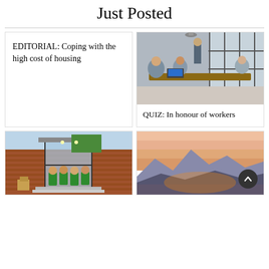Just Posted
EDITORIAL: Coping with the high cost of housing
[Figure (photo): Photo of people in a meeting room around a table with laptops, presenter standing at whiteboard in background]
QUIZ: In honour of workers
[Figure (photo): Photo of a group of people in green t-shirts standing in front of a brick building entrance]
[Figure (photo): Photo of a scenic sunset landscape with mountains and orange sky, with a scroll-to-top button overlay]